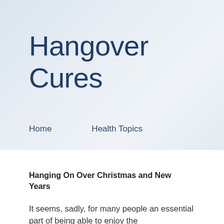Hangover Cures
Home
Health Topics
Hanging On Over Christmas and New Years
It seems, sadly, for many people an essential part of being able to enjoy the